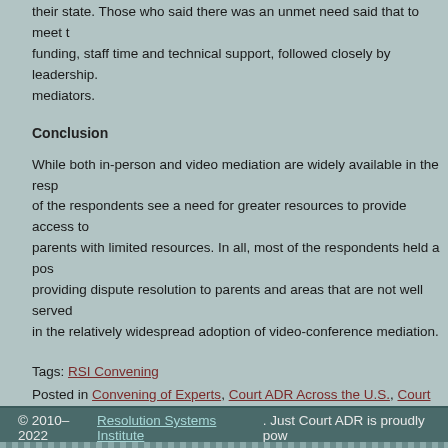their state. Those who said there was an unmet need said that to meet that need they needed funding, staff time and technical support, followed closely by leadership. mediators.
Conclusion
While both in-person and video mediation are widely available in the responding states, many of the respondents see a need for greater resources to provide access to mediation services to parents with limited resources. In all, most of the respondents held a positive attitude toward providing dispute resolution to parents and areas that are not well served, which was reflected in the relatively widespread adoption of video-conference mediation.
Tags: RSI Convening
Posted in Convening of Experts, Court ADR Across the U.S., Court Media Family, ODR Convening, Online Dispute Resolution, People & Events, R Comments »
© 2010–2022 Resolution Systems Institute. Just Court ADR is proudly pow